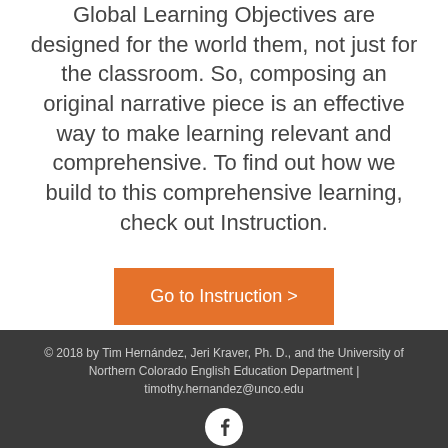Global Learning Objectives are designed for the world them, not just for the classroom. So, composing an original narrative piece is an effective way to make learning relevant and comprehensive. To find out how we build to this comprehensive learning, check out Instruction.
Go to Instruction >
© 2018 by Tim Hernández, Jeri Kraver, Ph. D., and the University of Northern Colorado English Education Department | timothy.hernandez@unco.edu